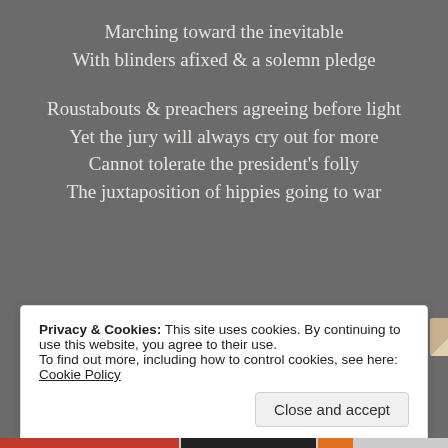Marching toward the inevitable
With blinders afixed & a solemn pledge

Roustabouts & preachers agreeing before light
Yet the jury will always cry out for more
Cannot tolerate the president’s folly
The juxtaposition of hippies going to war
[Figure (screenshot): Like button with star icon, followed by a row of 10 user avatar thumbnails]
11 bloggers like this.
Privacy & Cookies: This site uses cookies. By continuing to use this website, you agree to their use.
To find out more, including how to control cookies, see here: Cookie Policy
Close and accept